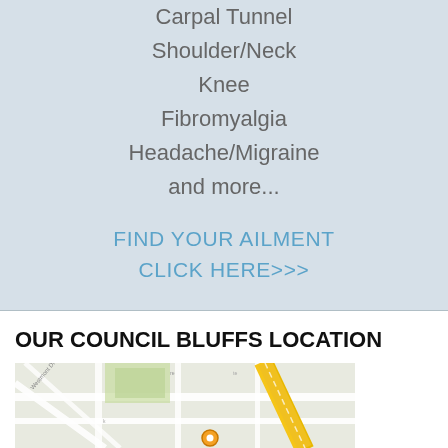Carpal Tunnel
Shoulder/Neck
Knee
Fibromyalgia
Headache/Migraine
and more...
FIND YOUR AILMENT
CLICK HERE>>>
OUR COUNCIL BLUFFS LOCATION
[Figure (map): Google Maps view of Council Bluffs location showing street map with roads, a yellow highway, green areas, and a location pin marker.]